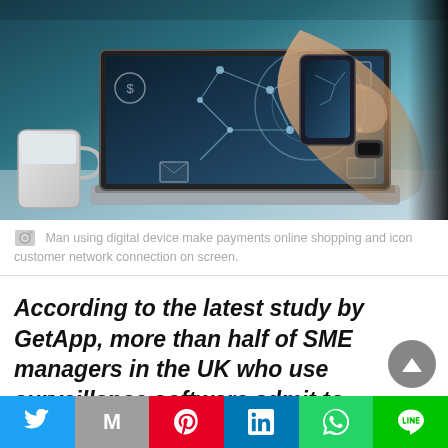[Figure (photo): Man using laptop and smartphone with digital network connection icons overlaid on screen, mug visible on left]
Man using digital device make payments online shopping and icon customer network connection on screen.
According to the latest study by GetApp, more than half of SME managers in the UK who use surveillance software admit to overstepping their rights, as determined by law, to monitor